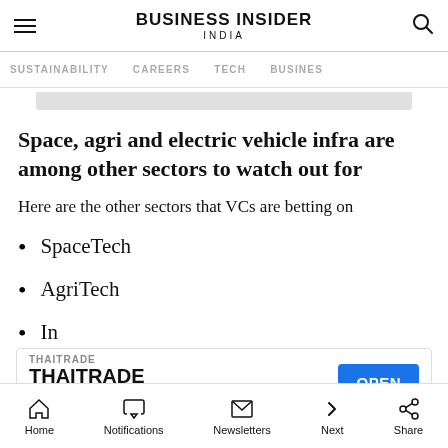BUSINESS INSIDER INDIA
SUSTAINABILITY  CAREERS  TECH  BUSINESS
Space, agri and electric vehicle infra are among other sectors to watch out for
Here are the other sectors that VCs are betting on
SpaceTech
AgriTech
In...
[Figure (other): Advertisement banner for THAITRADE with OPEN button]
Home  Notifications  Newsletters  Next  Share